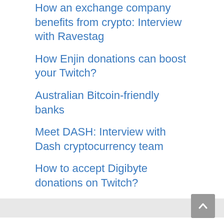How an exchange company benefits from crypto: Interview with Ravestag
How Enjin donations can boost your Twitch?
Australian Bitcoin-friendly banks
Meet DASH: Interview with Dash cryptocurrency team
How to accept Digibyte donations on Twitch?
Categories
Crypto & Business
#FutureIsNow
Crypto & Corporations